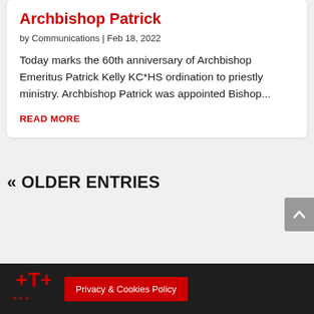Archbishop Patrick
by Communications | Feb 18, 2022
Today marks the 60th anniversary of Archbishop Emeritus Patrick Kelly KC*HS ordination to priestly ministry. Archbishop Patrick was appointed Bishop...
READ MORE
« OLDER ENTRIES
Privacy & Cookies Policy